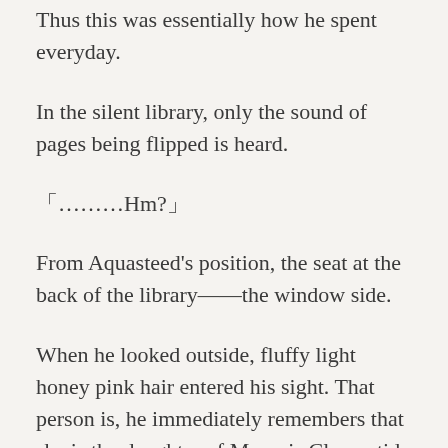Thus this was essentially how he spent everyday.
In the silent library, only the sound of pages being flipped is heard.
「………Hm?」
From Aquasteed's position, the seat at the back of the library——the window side.
When he looked outside, fluffy light honey pink hair entered his sight. That person is, he immediately remembers that she is the daughter of Marquis Clementide who was granted the title of Lapis.
Apparently it seems she was having tea